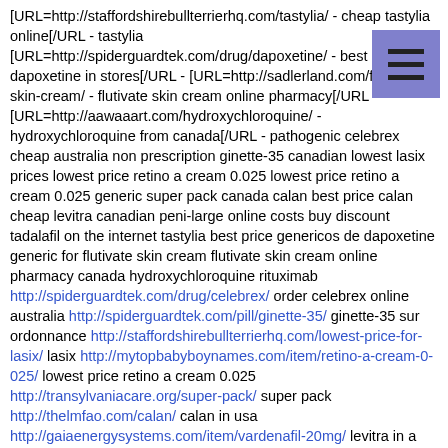[URL=http://staffordshirebullterrierhq.com/tastylia/ - cheap tastylia online[/URL - tastylia [URL=http://spiderguardtek.com/drug/dapoxetine/ - best price dapoxetine in stores[/URL - [URL=http://sadlerland.com/flutivate-skin-cream/ - flutivate skin cream online pharmacy[/URL - [URL=http://aawaaart.com/hydroxychloroquine/ - hydroxychloroquine from canada[/URL - pathogenic celebrex cheap australia non prescription ginette-35 canadian lowest lasix prices lowest price retino a cream 0.025 lowest price retino a cream 0.025 generic super pack canada calan best price calan cheap levitra canadian peni-large online costs buy discount tadalafil on the internet tastylia best price genericos de dapoxetine generic for flutivate skin cream flutivate skin cream online pharmacy canada hydroxychloroquine rituximab http://spiderguardtek.com/drug/celebrex/ order celebrex online australia http://spiderguardtek.com/pill/ginette-35/ ginette-35 sur ordonnance http://staffordshirebullterrierhq.com/lowest-price-for-lasix/ lasix http://mytopbabyboynames.com/item/retino-a-cream-0-025/ lowest price retino a cream 0.025 http://transylvaniacare.org/super-pack/ super pack http://thelmfao.com/calan/ calan in usa http://gaiaenergysystems.com/item/vardenafil-20mg/ levitra in a drug test http://rinconprweddingplanner.com/item/peni-large/ peni-large generic overnight state united http://spiderguardtek.com/pill/the-best-generic-tadalafil/ the best generic tadalafil http://staffordshirebullterrierhq.com/tastylia/ best price tastylia tastylia best price http://spiderguardtek.com/drug/dapoxetine/ discount dapoxetine sales http://sadlerland.com/flutivate-skin-cream/ flutivate skin cream canada http://aawaaart.com/hydroxychloroquine/ hydroxychloroquine hypofunction consulting nature, setting.